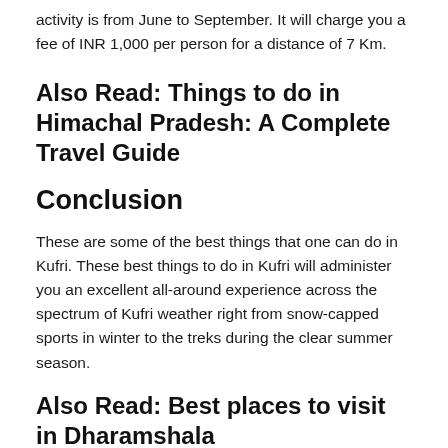activity is from June to September. It will charge you a fee of INR 1,000 per person for a distance of 7 Km.
Also Read: Things to do in Himachal Pradesh: A Complete Travel Guide
Conclusion
These are some of the best things that one can do in Kufri. These best things to do in Kufri will administer you an excellent all-around experience across the spectrum of Kufri weather right from snow-capped sports in winter to the treks during the clear summer season.
Also Read: Best places to visit in Dharamshala